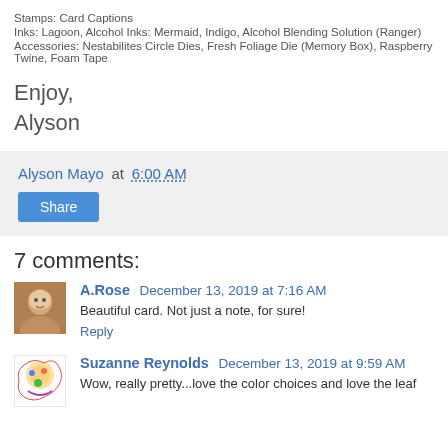Stamps: Card Captions
Inks: Lagoon, Alcohol Inks: Mermaid, Indigo, Alcohol Blending Solution (Ranger)
Accessories: Nestabilites Circle Dies, Fresh Foliage Die (Memory Box), Raspberry Twine, Foam Tape
Enjoy,
Alyson
Alyson Mayo at 6:00 AM
Share
7 comments:
A.Rose  December 13, 2019 at 7:16 AM
Beautiful card. Not just a note, for sure!
Reply
Suzanne Reynolds  December 13, 2019 at 9:59 AM
Wow, really pretty...love the color choices and love the leaf